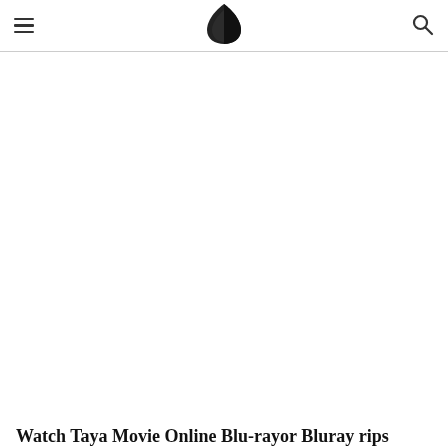[Figure (illustration): Large white/blank content area below header, likely an image placeholder]
Watch Taya Movie Online Blu-rayor Bluray rips